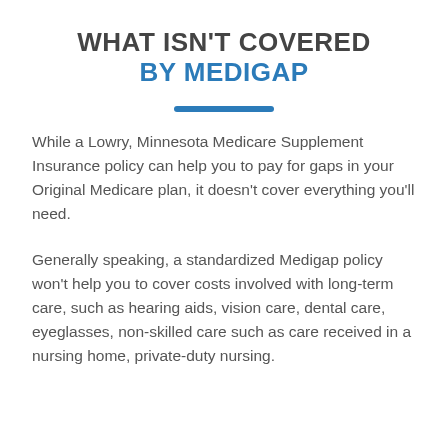WHAT ISN'T COVERED BY MEDIGAP
While a Lowry, Minnesota Medicare Supplement Insurance policy can help you to pay for gaps in your Original Medicare plan, it doesn't cover everything you'll need.
Generally speaking, a standardized Medigap policy won't help you to cover costs involved with long-term care, such as hearing aids, vision care, dental care, eyeglasses, non-skilled care such as care received in a nursing home, private-duty nursing.